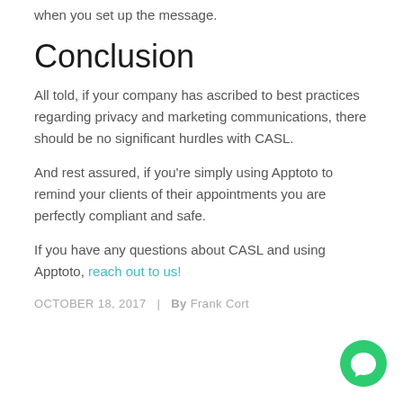when you set up the message.
Conclusion
All told, if your company has ascribed to best practices regarding privacy and marketing communications, there should be no significant hurdles with CASL.
And rest assured, if you're simply using Apptoto to remind your clients of their appointments you are perfectly compliant and safe.
If you have any questions about CASL and using Apptoto, reach out to us!
OCTOBER 18, 2017  |  By Frank Cort
[Figure (illustration): Green circular chat/messaging button icon in bottom right corner]